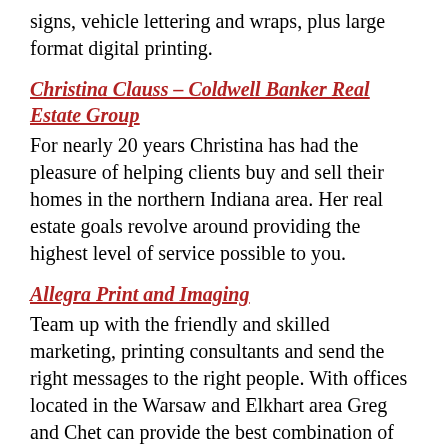signs, vehicle lettering and wraps, plus large format digital printing.
Christina Clauss – Coldwell Banker Real Estate Group
For nearly 20 years Christina has had the pleasure of helping clients buy and sell their homes in the northern Indiana area. Her real estate goals revolve around providing the highest level of service possible to you.
Allegra Print and Imaging
Team up with the friendly and skilled marketing, printing consultants and send the right messages to the right people. With offices located in the Warsaw and Elkhart area Greg and Chet can provide the best combination of solutions for your unique organizational needs and goals.
Jackie Mahony – Coldwell Banker Real Estate Group
Jackie Mahony of Coldwell Banker Real Estate Group